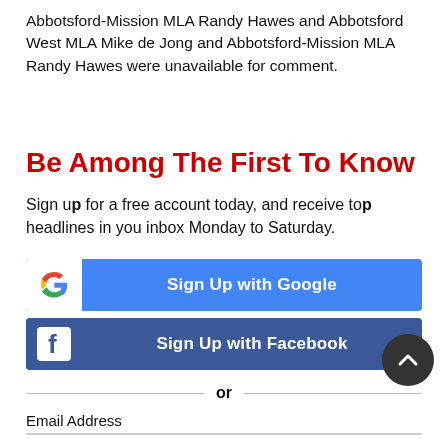Abbotsford-Mission MLA Randy Hawes and Abbotsford West MLA Mike de Jong and Abbotsford-Mission MLA Randy Hawes were unavailable for comment.
Be Among The First To Know
Sign up for a free account today, and receive top headlines in you inbox Monday to Saturday.
[Figure (infographic): Sign Up with Google button with Google G logo on white background and blue button]
[Figure (infographic): Sign Up with Facebook button with Facebook f logo on blue background]
or
Email Address